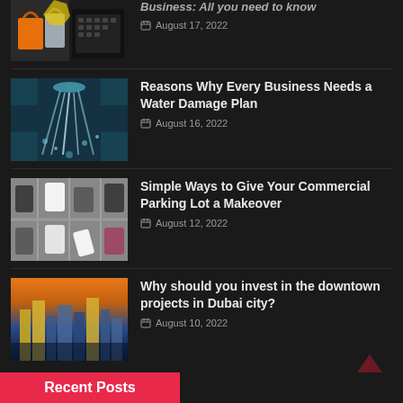[Figure (photo): Shopping bags and laptop keyboard, partially visible at top]
Business: All you need to know
August 17, 2022
[Figure (photo): Water splashing / water damage scene with teal tones]
Reasons Why Every Business Needs a Water Damage Plan
August 16, 2022
[Figure (photo): Aerial view of commercial parking lot with cars]
Simple Ways to Give Your Commercial Parking Lot a Makeover
August 12, 2022
[Figure (photo): Dubai city skyline at dusk with golden and teal towers]
Why should you invest in the downtown projects in Dubai city?
August 10, 2022
Recent Posts